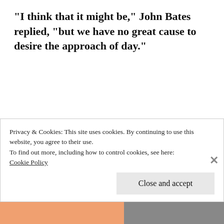“I think that it might be,” John Bates replied, “but we have no great cause to desire the approach of day.”
John Williams said, “We see yonder the beginning of the day, but I think that we shall not stay alive long enough to see the end of
Privacy & Cookies: This site uses cookies. By continuing to use this website, you agree to their use.
To find out more, including how to control cookies, see here: Cookie Policy
Close and accept